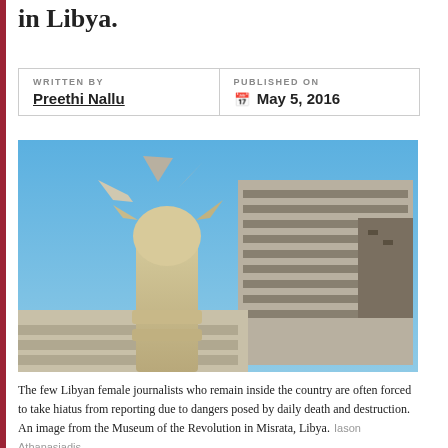in Libya.
WRITTEN BY
Preethi Nallu
PUBLISHED ON
May 5, 2016
[Figure (photo): A damaged sculpture or monument in the foreground with a bombed-out multi-story building in the background, under a blue sky. Museum of the Revolution in Misrata, Libya.]
The few Libyan female journalists who remain inside the country are often forced to take hiatus from reporting due to dangers posed by daily death and destruction. An image from the Museum of the Revolution in Misrata, Libya.  Iason Athanasiadis